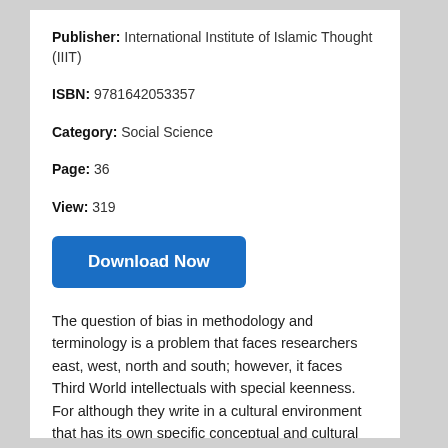Publisher: International Institute of Islamic Thought (IIIT)
ISBN: 9781642053357
Category: Social Science
Page: 36
View: 319
[Figure (other): Blue Download Now button]
The question of bias in methodology and terminology is a problem that faces researchers east, west, north and south; however, it faces Third World intellectuals with special keenness. For although they write in a cultural environment that has its own specific conceptual and cultural paradigms, they nevertheless encounter a foreign paradigm which attempts to impose itself upon their society and upon their very imagination and